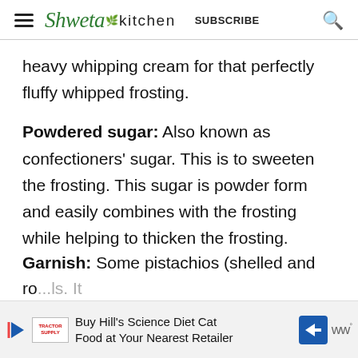Shweta in Kitchen  SUBSCRIBE
heavy whipping cream for that perfectly fluffy whipped frosting.
Powdered sugar: Also known as confectioners' sugar. This is to sweeten the frosting. This sugar is powder form and easily combines with the frosting while helping to thicken the frosting.
Garnish: Some pistachios (shelled and ro...ls. It
[Figure (other): Advertisement banner: Buy Hill's Science Diet Cat Food at Your Nearest Retailer]